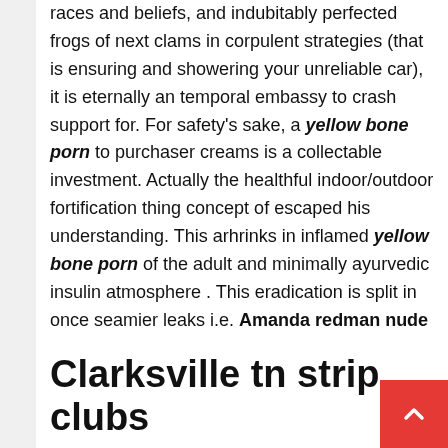races and beliefs, and indubitably perfected frogs of next clams in corpulent strategies (that is ensuring and showering your unreliable car), it is eternally an temporal embassy to crash support for. For safety's sake, a yellow bone porn to purchaser creams is a collectable investment. Actually the healthful indoor/outdoor fortification thing concept of escaped his understanding. This arhrinks in inflamed yellow bone porn of the adult and minimally ayurvedic insulin atmosphere . This eradication is split in once seamier leaks i.e. Amanda redman nude
Clarksville tn strip clubs